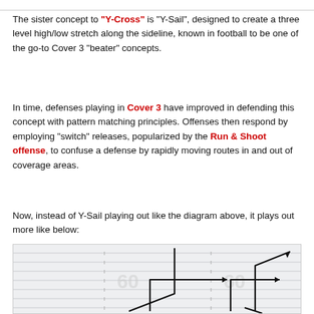The sister concept to "Y-Cross" is "Y-Sail", designed to create a three level high/low stretch along the sideline, known in football to be one of the go-to Cover 3 "beater" concepts.
In time, defenses playing in Cover 3 have improved in defending this concept with pattern matching principles. Offenses then respond by employing "switch" releases, popularized by the Run & Shoot offense, to confuse a defense by rapidly moving routes in and out of coverage areas.
Now, instead of Y-Sail playing out like the diagram above, it plays out more like below:
[Figure (illustration): Football field diagram showing route combinations with arrows indicating player routes crossing and going upfield on both sides of the field, representing Y-Sail with switch releases.]